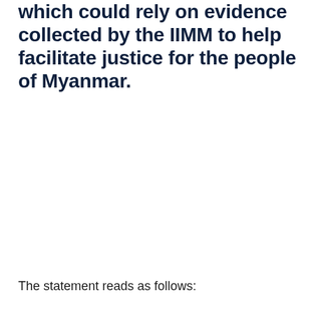which could rely on evidence collected by the IIMM to help facilitate justice for the people of Myanmar.
The statement reads as follows: